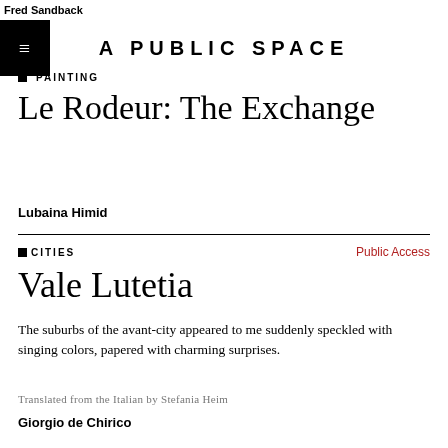Fred Sandback
A PUBLIC SPACE
PAINTING
Le Rodeur: The Exchange
Lubaina Himid
CITIES
Public Access
Vale Lutetia
The suburbs of the avant-city appeared to me suddenly speckled with singing colors, papered with charming surprises.
Translated from the Italian by Stefania Heim
Giorgio de Chirico